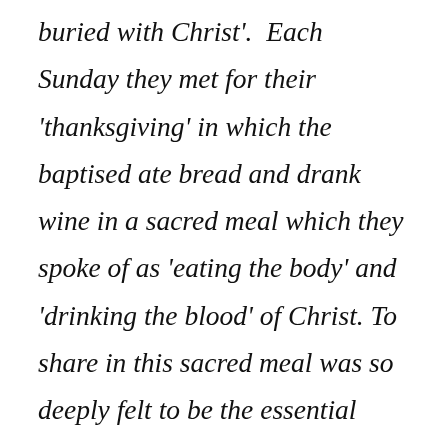buried with Christ'.  Each Sunday they met for their 'thanksgiving' in which the baptised ate bread and drank wine in a sacred meal which they spoke of as 'eating the body' and 'drinking the blood' of Christ. To share in this sacred meal was so deeply felt to be the essential expression of membership of the society that fragments of